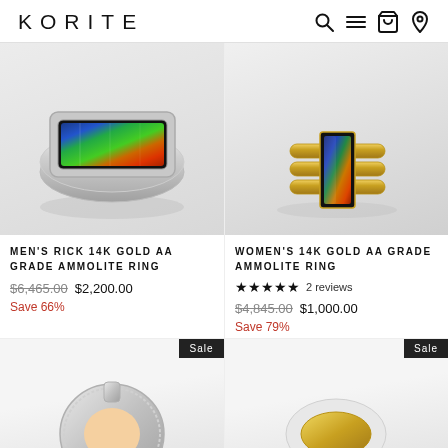KORITE
[Figure (photo): Men's silver ring with colorful ammolite gemstone showing green, blue, and orange iridescent colors]
MEN'S RICK 14K GOLD AA GRADE AMMOLITE RING
$6,465.00 $2,200.00
Save 66%
[Figure (photo): Women's gold ring with rectangular ammolite gemstone showing rainbow iridescent colors]
WOMEN'S 14K GOLD AA GRADE AMMOLITE RING
★★★★★ 2 reviews
$4,845.00 $1,000.00
Save 79%
[Figure (photo): Sale badge visible, partial view of a silver pendant jewelry piece at bottom left]
[Figure (photo): Sale badge visible, partial view of another jewelry piece at bottom right]